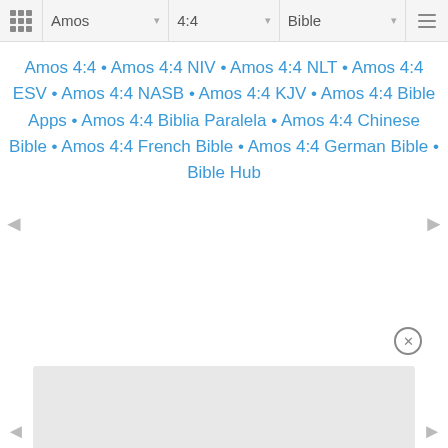Amos | 4:4 | Bible
Amos 4:4 • Amos 4:4 NIV • Amos 4:4 NLT • Amos 4:4 ESV • Amos 4:4 NASB • Amos 4:4 KJV • Amos 4:4 Bible Apps • Amos 4:4 Biblia Paralela • Amos 4:4 Chinese Bible • Amos 4:4 French Bible • Amos 4:4 German Bible • Bible Hub